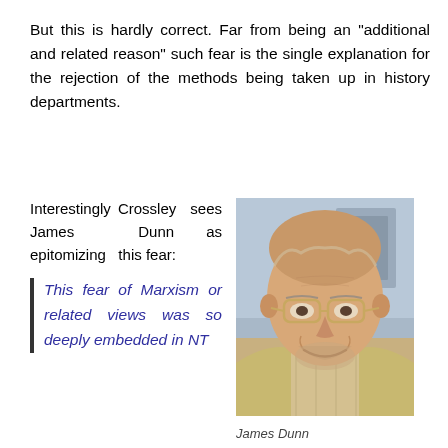But this is hardly correct. Far from being an “additional and related reason” such fear is the single explanation for the rejection of the methods being taken up in history departments.
Interestingly Crossley sees James Dunn as epitomizing this fear:
[Figure (photo): Portrait photo of James Dunn, an elderly man with glasses, smiling, wearing a beige jacket and plaid shirt.]
James Dunn
This fear of Marxism or related views was so deeply embedded in NT